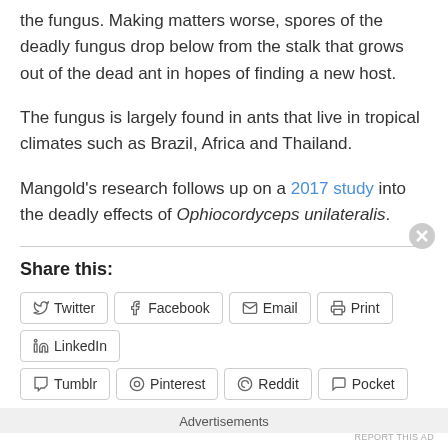the fungus. Making matters worse, spores of the deadly fungus drop below from the stalk that grows out of the dead ant in hopes of finding a new host.
The fungus is largely found in ants that live in tropical climates such as Brazil, Africa and Thailand.
Mangold's research follows up on a 2017 study into the deadly effects of Ophiocordyceps unilateralis.
Share this:
Twitter Facebook Email Print LinkedIn Tumblr Pinterest Reddit Pocket
Advertisements